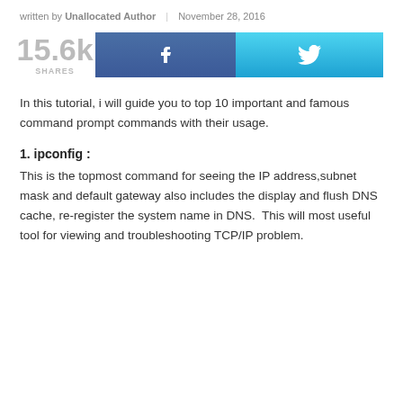written by Unallocated Author | November 28, 2016
[Figure (infographic): Social share counter showing 15.6k SHARES with Facebook and Twitter share buttons]
In this tutorial, i will guide you to top 10 important and famous command prompt commands with their usage.
1. ipconfig :
This is the topmost command for seeing the IP address,subnet mask and default gateway also includes the display and flush DNS cache, re-register the system name in DNS.  This will most useful tool for viewing and troubleshooting TCP/IP problem.